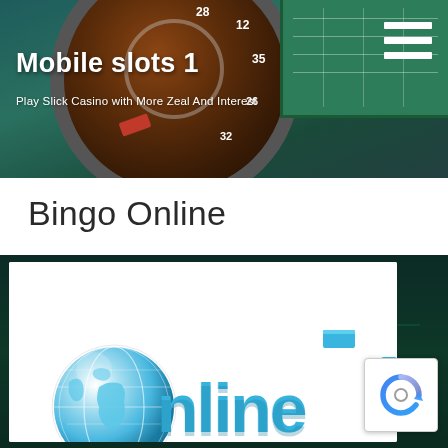Mobile slots 1 — Play Slick Casino with More Zeal And Interest
Bingo Online
[Figure (photo): Roulette wheel and casino green table background in header banner with hamburger menu icon]
[Figure (illustration): 3D globe and 'online' text in blue block letters on white background, reCAPTCHA badge in lower right corner]